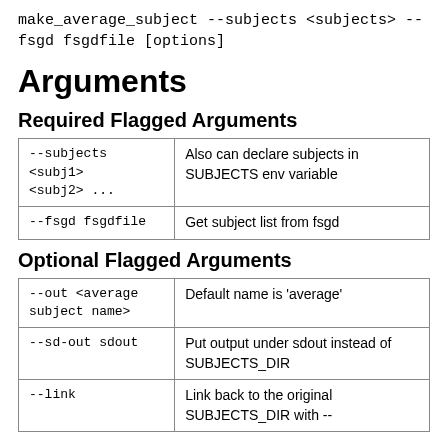make_average_subject --subjects <subjects> --fsgd fsgdfile [options]
Arguments
Required Flagged Arguments
| --subjects <subj1> <subj2> ... | Also can declare subjects in SUBJECTS env variable |
| --fsgd fsgdfile | Get subject list from fsgd |
Optional Flagged Arguments
| --out <average subject name> | Default name is 'average' |
| --sd-out sdout | Put output under sdout instead of SUBJECTS_DIR |
| --link | Link back to the original SUBJECTS_DIR with -- |